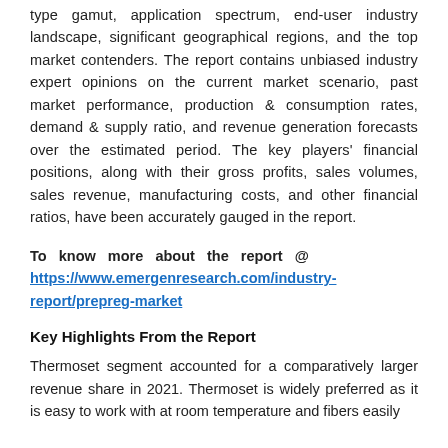type gamut, application spectrum, end-user industry landscape, significant geographical regions, and the top market contenders. The report contains unbiased industry expert opinions on the current market scenario, past market performance, production & consumption rates, demand & supply ratio, and revenue generation forecasts over the estimated period. The key players' financial positions, along with their gross profits, sales volumes, sales revenue, manufacturing costs, and other financial ratios, have been accurately gauged in the report.
To know more about the report @ https://www.emergenresearch.com/industry-report/prepreg-market
Key Highlights From the Report
Thermoset segment accounted for a comparatively larger revenue share in 2021. Thermoset is widely preferred as it is easy to work with at room temperature and fibers easily